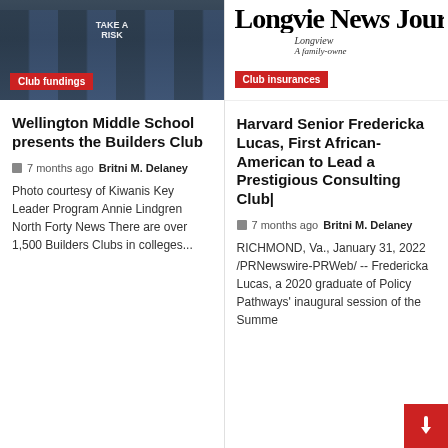[Figure (photo): Group of people wearing navy blue 'TAKE A RISK' shirts outdoors]
Club fundings
[Figure (photo): Longview News Journal newspaper header - 'A family-owned' publication]
Club insurances
Wellington Middle School presents the Builders Club
7 months ago  Britni M. Delaney
Photo courtesy of Kiwanis Key Leader Program Annie Lindgren North Forty News There are over 1,500 Builders Clubs in colleges...
Harvard Senior Fredericka Lucas, First African-American to Lead a Prestigious Consulting Club|
7 months ago  Britni M. Delaney
RICHMOND, Va., January 31, 2022 /PRNewswire-PRWeb/ -- Fredericka Lucas, a 2020 graduate of Policy Pathways' inaugural session of the Summe